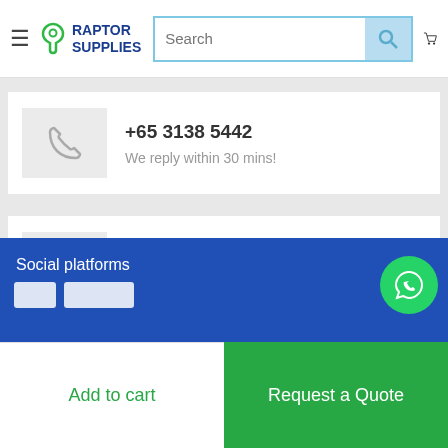Raptor Supplies — navigation header with search bar and cart icon
+65 3138 5442
We reply within 30 mins!
+65 3138 5442
We reply within 30 mins!
Social platforms
Add to cart
Request a Quote